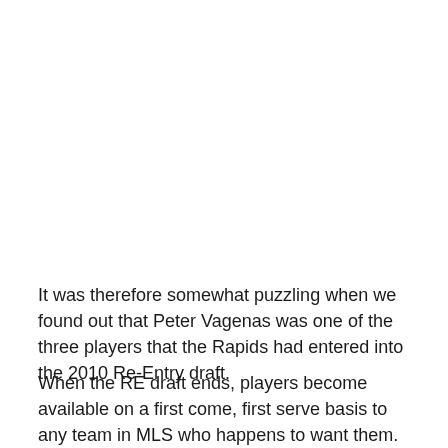It was therefore somewhat puzzling when we found out that Peter Vagenas was one of the three players that the Rapids had entered into the 2010 Re-Entry draft.
When the RE draft ends, players become available on a first come, first serve basis to any team in MLS who happens to want them. Claudio Lopez and Ciaran O'Brien were also put into the re-entry draft and with